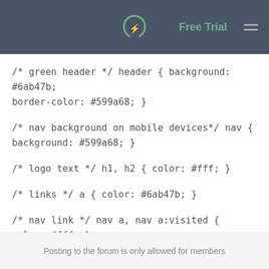Free Trial
/* green header */ header { background: #6ab47b; border-color: #599a68; }
/* nav background on mobile devices*/ nav { background: #599a68; }
/* logo text */ h1, h2 { color: #fff; }
/* links */ a { color: #6ab47b; }
/* nav link */ nav a, nav a:visited { color: #fff; }
/* selected nav link */ nav a.selected, nav a:hover { color: #32673f; }
Posting to the forum is only allowed for members